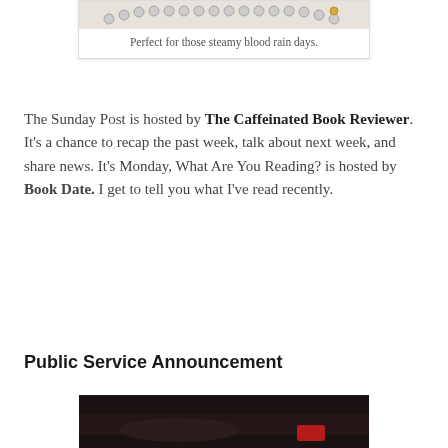[Figure (photo): Top portion of an image showing a necklace or jewelry item, partial view cropped at top]
Perfect for those steamy blood rain days.
The Sunday Post is hosted by The Caffeinated Book Reviewer. It's a chance to recap the past week, talk about next week, and share news. It's Monday, What Are You Reading? is hosted by Book Date. I get to tell you what I've read recently.
Public Service Announcement
[Figure (photo): Dark atmospheric photo, appears to show a figure in dark tones with a red accent element]